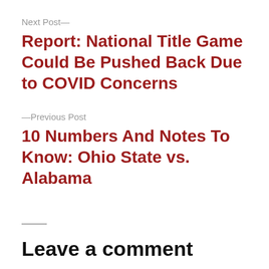Next Post—
Report: National Title Game Could Be Pushed Back Due to COVID Concerns
—Previous Post
10 Numbers And Notes To Know: Ohio State vs. Alabama
Leave a comment